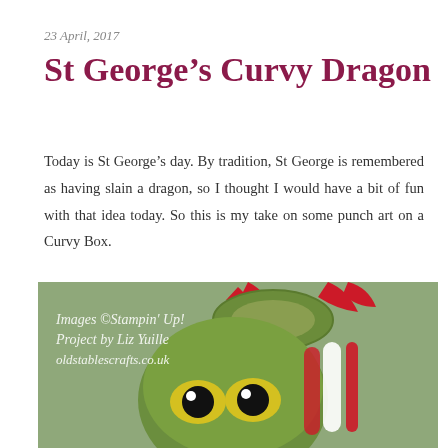23 April, 2017
St George’s Curvy Dragon
Today is St George’s day. By tradition, St George is remembered as having slain a dragon, so I thought I would have a bit of fun with that idea today. So this is my take on some punch art on a Curvy Box.
[Figure (photo): A green Curvy Box decorated as a dragon with red paper wing/fin decorations on top and white and red striped body details, with yellow and black circular eyes. Watermark text reads: Images ©Stampin’ Up! Project by Liz Yuille oldstablescrafts.co.uk]